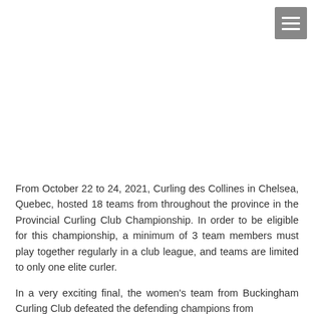[Figure (other): Hamburger menu icon button in grey]
From October 22 to 24, 2021, Curling des Collines in Chelsea, Quebec, hosted 18 teams from throughout the province in the Provincial Curling Club Championship. In order to be eligible for this championship, a minimum of 3 team members must play together regularly in a club league, and teams are limited to only one elite curler.
In a very exciting final, the women's team from Buckingham Curling Club defeated the defending champions from